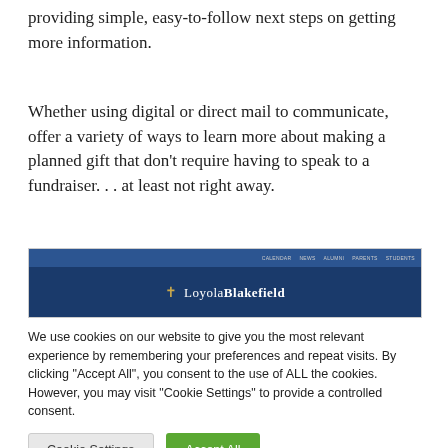providing simple, easy-to-follow next steps on getting more information.
Whether using digital or direct mail to communicate, offer a variety of ways to learn more about making a planned gift that don't require having to speak to a fundraiser. . . at least not right away.
[Figure (screenshot): Screenshot of the Loyola Blakefield website header with a blue navigation bar and the Loyola Blakefield logo]
We use cookies on our website to give you the most relevant experience by remembering your preferences and repeat visits. By clicking "Accept All", you consent to the use of ALL the cookies. However, you may visit "Cookie Settings" to provide a controlled consent.